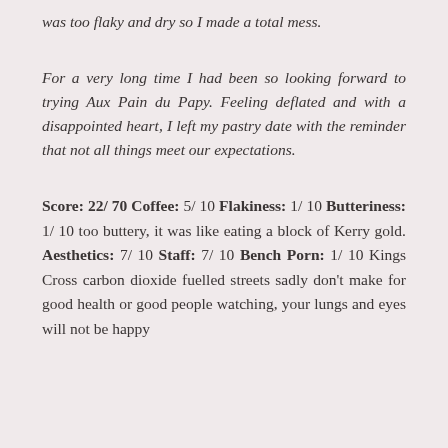was too flaky and dry so I made a total mess.
For a very long time I had been so looking forward to trying Aux Pain du Papy. Feeling deflated and with a disappointed heart, I left my pastry date with the reminder that not all things meet our expectations.
Score: 22/ 70 Coffee: 5/ 10 Flakiness: 1/ 10 Butteriness: 1/ 10 too buttery, it was like eating a block of Kerry gold. Aesthetics: 7/ 10 Staff: 7/ 10 Bench Porn: 1/ 10 Kings Cross carbon dioxide fuelled streets sadly don't make for good health or good people watching, your lungs and eyes will not be happy